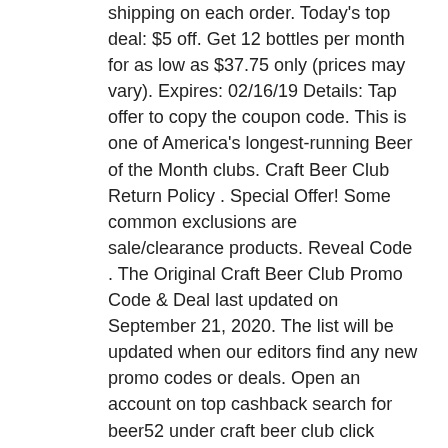shipping on each order. Today's top deal: $5 off. Get 12 bottles per month for as low as $37.75 only (prices may vary). Expires: 02/16/19 Details: Tap offer to copy the coupon code. This is one of America's longest-running Beer of the Month clubs. Craft Beer Club Return Policy . Special Offer! Some common exclusions are sale/clearance products. Reveal Code . The Original Craft Beer Club Promo Code & Deal last updated on September 21, 2020. The list will be updated when our editors find any new promo codes or deals. Open an account on top cashback search for beer52 under craft beer club click promo or gift code enter promo code MF3 it'll discount £24 and say you'll just need to pay £4.95 posta… Read more. Tap offer to copy the coupon code. Limited time Beer of the Month Club deal: 10% off orders over $100. Don't want to subscribe? Save big w/ (3) verified Craft Beer Kings coupon codes, storewide deals & Craft Beer Kings price drops at Amazon. Get Code . $5 Off First Ongoing Shipment, Includes Three Bonus Gifts.